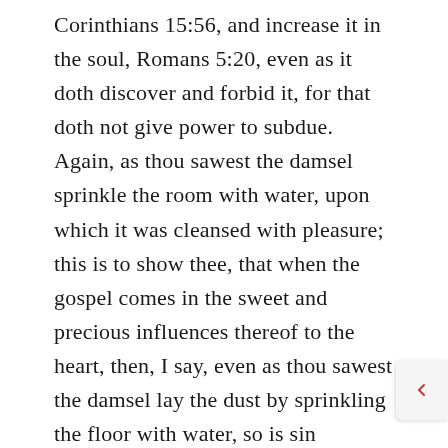Corinthians 15:56, and increase it in the soul, Romans 5:20, even as it doth discover and forbid it, for that doth not give power to subdue. Again, as thou sawest the damsel sprinkle the room with water, upon which it was cleansed with pleasure; this is to show thee, that when the gospel comes in the sweet and precious influences thereof to the heart, then, I say, even as thou sawest the damsel lay the dust by sprinkling the floor with water, so is sin vanquished and subdued, and the soul made clean, through the faith of it, and consequently fit for the King of glory to